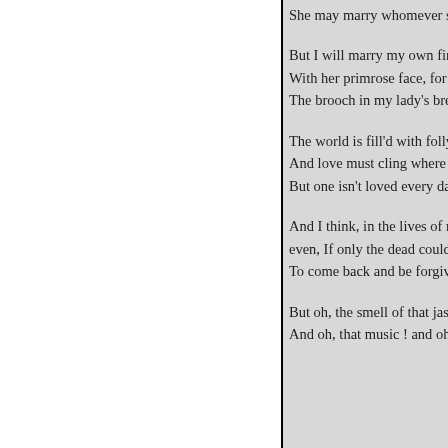She may marry whomever she w

But I will marry my own first lo
With her primrose face, for old t
The brooch in my lady's breast.

The world is fill'd with folly and
And love must cling where it ca
But one isn't loved every day.

And I think, in the lives of most
even, If only the dead could find
   To come back and be forgiven

But oh, the smell of that jasmine
And oh, that music ! and oh, the